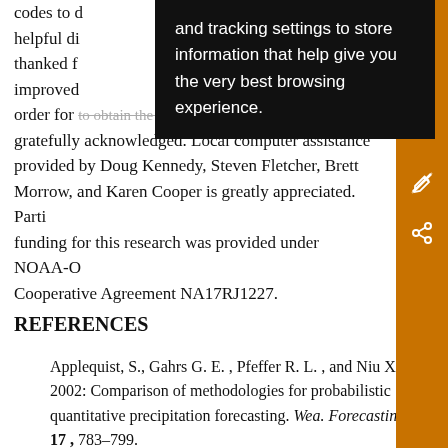codes to d… and tracking settings to store information that help give you the very best browsing experience. helpful di… thanked f… s that improved… EP in order for the to obtain the stage II data via PIP is gratefully acknowledged. Local computer assistance provided by Doug Kennedy, Steven Fletcher, Brett Morrow, and Karen Cooper is greatly appreciated. Partial funding for this research was provided under NOAA-O… Cooperative Agreement NA17RJ1227.
REFERENCES
Applequist, S., Gahrs G. E. , Pfeffer R. L. , and Niu X. , 2002: Comparison of methodologies for probabilistic quantitative precipitation forecasting. Wea. Forecasting, 17 , 783–799.